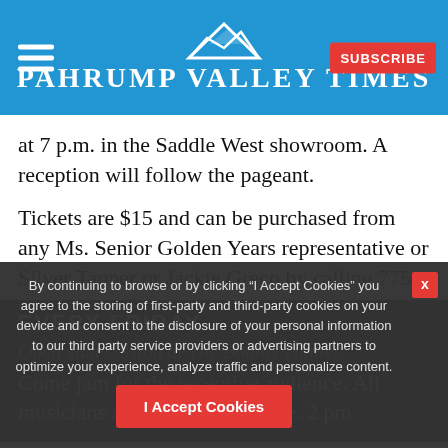Pahrump Valley Times
at 7 p.m. in the Saddle West showroom. A reception will follow the pageant.
Tickets are $15 and can be purchased from any Ms. Senior Golden Years representative or Silver Tapper or Jackie Greco by calling 775-751-3468.
EVERY FRIDAY
Open Jam session at The Bounty Hunter.
Come jam for the receptive audience. All musicians and singers welcome. 2 pm
By continuing to browse or by clicking “I Accept Cookies” you agree to the storing of first-party and third-party cookies on your device and consent to the disclosure of your personal information to our third party service providers or advertising partners to optimize your experience, analyze traffic and personalize content.